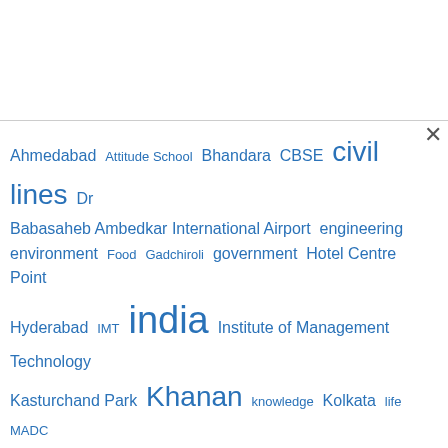[Figure (infographic): Tag cloud with various terms in different sizes in blue color, representing a website tag/keyword cloud. Terms include: Ahmedabad, Attitude School, Bhandara, CBSE, civil lines, Dr Babasaheb Ambedkar International Airport, engineering, environment, Food, Gadchiroli, government, Hotel Centre Point, Hyderabad, IMT, india, Institute of Management Technology, Kasturchand Park, Khanan, knowledge, Kolkata, life, MADC, maharashtra, Makar Sankranti, marriage, MSEDCL, Mumbai, nagpur city, Nagpurian, Nagpur university, NMC, parents, President, Pune, Sadar, Sanjeev Jaiswal, sitabuldi, SMS, students, success, VIA, Vidarbha Industrial Association, VNIT, Wardha, wardha road]